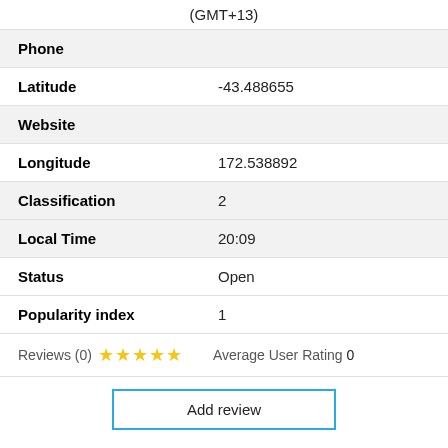(GMT+13)
Phone
Latitude -43.488655
Website
Longitude 172.538892
Classification 2
Local Time 20:09
Status Open
Popularity index 1
Reviews (0) ☆☆☆☆☆ Average User Rating 0
Add review